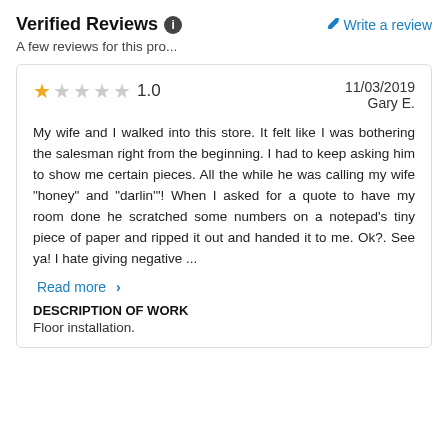Verified Reviews ℹ
✏ Write a review
A few reviews for this pro...
★ 1.0   11/03/2019
Gary E.
My wife and I walked into this store. It felt like I was bothering the salesman right from the beginning. I had to keep asking him to show me certain pieces. All the while he was calling my wife "honey" and "darlin'"! When I asked for a quote to have my room done he scratched some numbers on a notepad's tiny piece of paper and ripped it out and handed it to me. Ok?. See ya! I hate giving negative ...
Read more >
DESCRIPTION OF WORK
Floor installation.